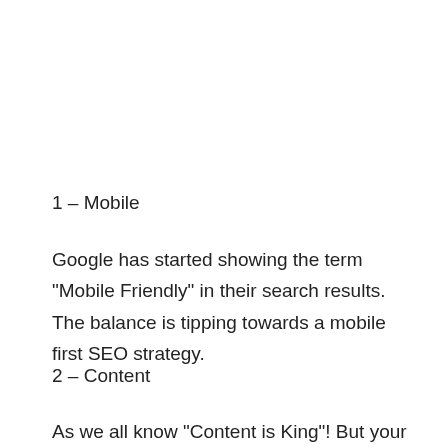1 – Mobile
Google has started showing the term “Mobile Friendly” in their search results. The balance is tipping towards a mobile first SEO strategy.
2 – Content
As we all know “Content is King”! But your content